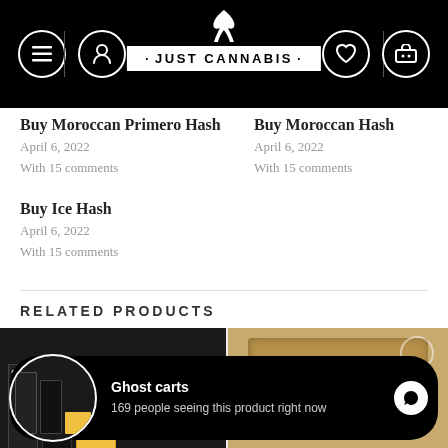Just Cannabis
Buy Moroccan Primero Hash
April 6, 2022
With 15 comments
Buy Moroccan Hash
April 6, 2022
With 15 comments
Buy Ice Hash
April 6, 2022
With 15 comments
RELATED PRODUCTS
[Figure (photo): Product display strip showing Ghost carts packaging and other cannabis products]
Ghost carts
169 people seeing this product right now